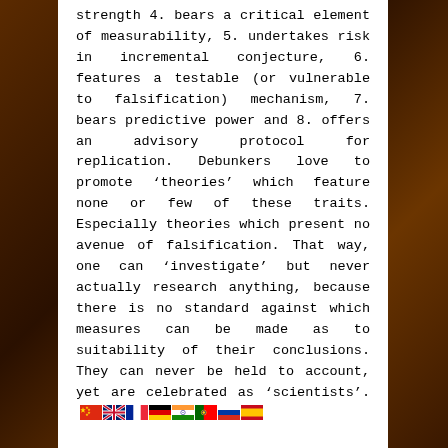strength 4. bears a critical element of measurability, 5. undertakes risk in incremental conjecture, 6. features a testable (or vulnerable to falsification) mechanism, 7. bears predictive power and 8. offers an advisory protocol for replication. Debunkers love to promote 'theories' which feature none or few of these traits. Especially theories which present no avenue of falsification. That way, one can 'investigate' but never actually research anything, because there is no standard against which measures can be made as to suitability of their conclusions. They can never be held to account, yet are celebrated as 'scientists'.